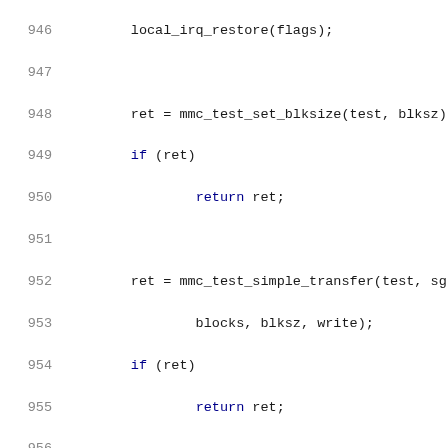[Figure (screenshot): Source code listing showing C code lines 946-967 with line numbers on the left in gray and code on the right with syntax highlighting. Keywords in dark blue, numbers in gold/dark yellow, default code in dark color on white background.]